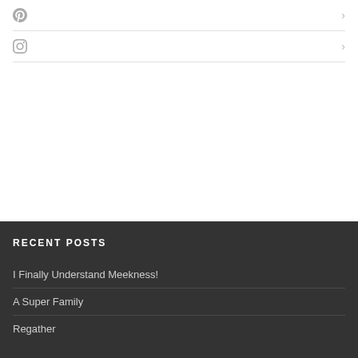[Figure (other): Pinterest social media icon row with chevron arrow]
[Figure (other): Instagram social media icon row with chevron arrow]
RECENT POSTS
I Finally Understand Meekness!
A Super Family
Regather